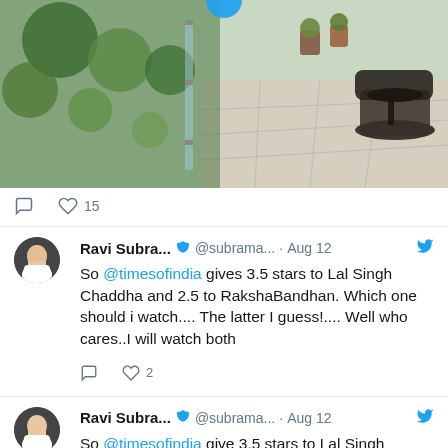[Figure (photo): Balcony/terrace photo with green plants, glass railing, and dark wicker furniture on tiled floor]
♡ 15
Ravi Subra... ✔ @subrama... · Aug 12
So @timesofindia gives 3.5 stars to Lal Singh Chaddha and 2.5 to RakshaBandhan. Which one should i watch.... The latter I guess!.... Well who cares..I will watch both
♡ 2
Ravi Subra... ✔ @subrama... · Aug 12
So @timesofindia give 3.5 stars to Lal Singh Chaddha and 2.5 to RakshaBandhan. Which one should i watch.... The latter I guess!.... Well who cares..I will watch both